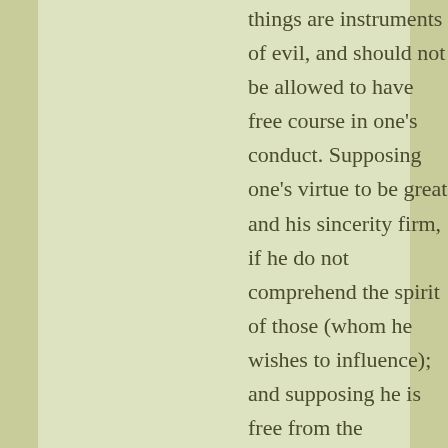things are instruments of evil, and should not be allowed to have free course in one's conduct. Supposing one's virtue to be great and his sincerity firm, if he do not comprehend the spirit of those (whom he wishes to influence); and supposing he is free from the disposition to strive for reputation, if he do not comprehend their minds;-when in such a case he forcibly insists on benevolence and righteousness,